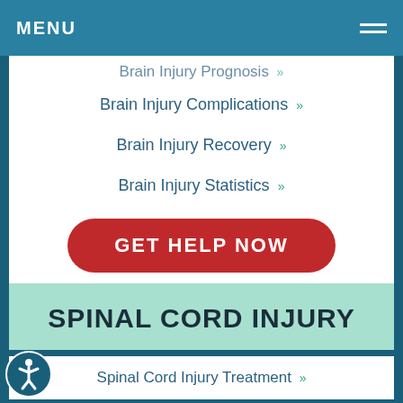MENU
Brain Injury Prognosis »
Brain Injury Complications »
Brain Injury Recovery »
Brain Injury Statistics »
GET HELP NOW
SPINAL CORD INJURY
Spinal Cord Injury Treatment »